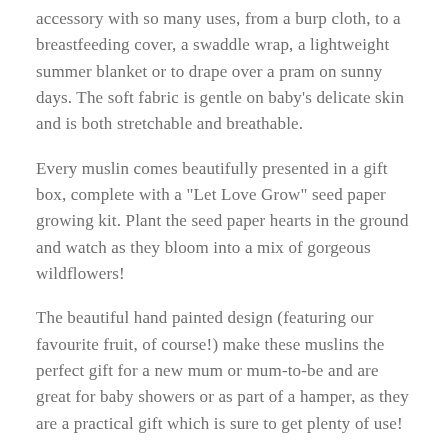accessory with so many uses, from a burp cloth, to a breastfeeding cover, a swaddle wrap, a lightweight summer blanket or to drape over a pram on sunny days. The soft fabric is gentle on baby's delicate skin and is both stretchable and breathable.
Every muslin comes beautifully presented in a gift box, complete with a "Let Love Grow" seed paper growing kit. Plant the seed paper hearts in the ground and watch as they bloom into a mix of gorgeous wildflowers!
The beautiful hand painted design (featuring our favourite fruit, of course!) make these muslins the perfect gift for a new mum or mum-to-be and are great for baby showers or as part of a hamper, as they are a practical gift which is sure to get plenty of use!
Add a Card?